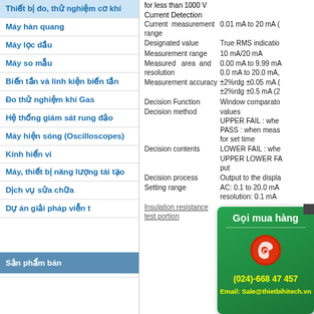Thiết bị đo, thử nghiệm cơ khí
Máy hàn quang
Máy lọc dầu
Máy so mẫu
Biến tần và linh kiện biến tần
Đo thử nghiệm khí Gas
Hệ thống giám sát rung đảo
Máy hiện sóng (Oscilloscopes)
Kính hiển vi
Máy, thiết bị năng lượng tái tạo
Dịch vụ sửa chữa
Dự án giải pháp viễn t...
Sản phẩm bán
for less than 1000 V
Current Detection
| Parameter | Value |
| --- | --- |
| Current measurement range | 0.01 mA to 20 mA ( |
| Designated value | True RMS indication |
| Measurement range | 10 mA/20 mA |
| Measured area and resolution | 0.00 mA to 9.99 mA
0.0 mA to 20.0 mA, |
| Measurement accuracy | ±2%rdg ±0.05 mA (
±2%rdg ±0.5 mA (2 |
| Decision Function | Window comparator |
| Decision method | values
UPPER FAIL : whe...
PASS : when meas... for set time |
| Decision contents | LOWER FAIL : whe...
UPPER LOWER FA... put |
| Decision process | Output to the displ... |
| Setting range | AC: 0.1 to 20.0 mA
resolution: 0.1 mA |
| Insulation resistance test portion |  |
Gọi mua hàng
(024)-668 47 457
Email: Sale@thietbihitech.vn